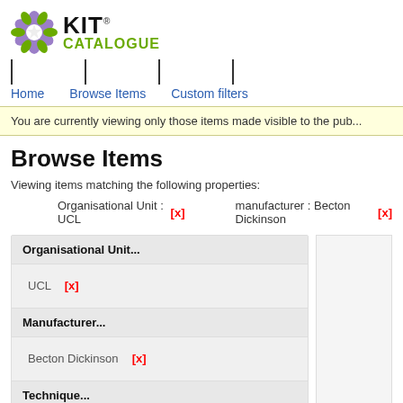[Figure (logo): KIT Catalogue logo with stylized flower icon in green and purple, bold KIT text and green CATALOGUE text with registered trademark symbol]
Home   Browse Items   Custom filters
You are currently viewing only those items made visible to the pub...
Browse Items
Viewing items matching the following properties:
Organisational Unit : UCL [x]   manufacturer : Becton Dickinson [x]
Organisational Unit...
UCL [x]
Manufacturer...
Becton Dickinson [x]
Technique...